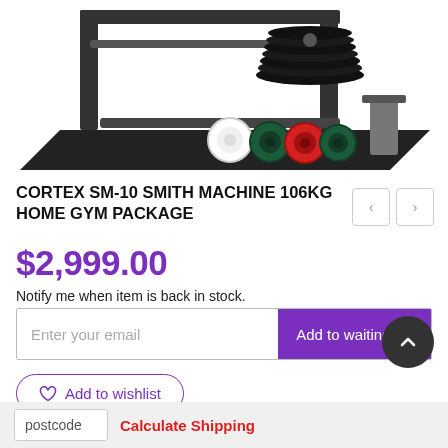[Figure (photo): Gym equipment product photo showing a smith machine with weight plates, barbell, and accessories on a black mat. White, dark green, red, and green weight plates visible in the foreground.]
CORTEX SM-10 SMITH MACHINE 106KG HOME GYM PACKAGE
$2,999.00
Notify me when item is back in stock.
Enter your email  Add to waiting list
Add to wishlist
postcode  Calculate Shipping